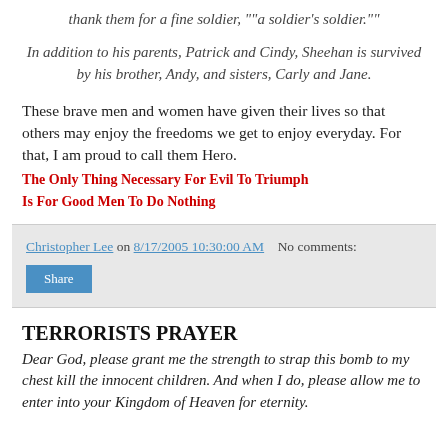thank them for a fine soldier, ""a soldier's soldier.""
In addition to his parents, Patrick and Cindy, Sheehan is survived by his brother, Andy, and sisters, Carly and Jane.
These brave men and women have given their lives so that others may enjoy the freedoms we get to enjoy everyday. For that, I am proud to call them Hero.
The Only Thing Necessary For Evil To Triumph
Is For Good Men To Do Nothing
Christopher Lee on 8/17/2005 10:30:00 AM    No comments:
Share
TERRORISTS PRAYER
Dear God, please grant me the strength to strap this bomb to my chest kill the innocent children. And when I do, please allow me to enter into your Kingdom of Heaven for eternity.